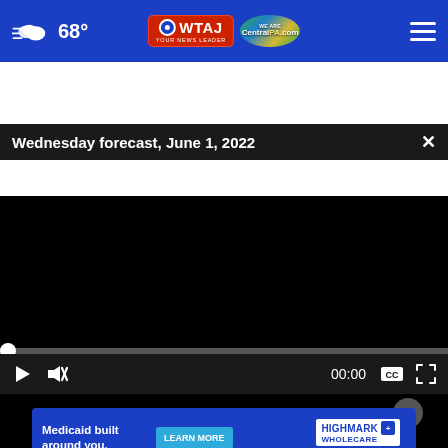68° — WTAJ / CentralPA.com navigation bar
Wednesday forecast, June 1, 2022
[Figure (screenshot): Black video player area showing a paused video with progress bar at start (00:00), play button, mute button, captions button, and fullscreen button.]
[Figure (photo): Thumbnail photo showing a person outdoors near water, partially visible below the video player.]
[Figure (other): Highmark Wholecare advertisement banner: 'Medicaid built around you.' with a LEARN MORE button and Highmark Wholecare logo. Because Life.]